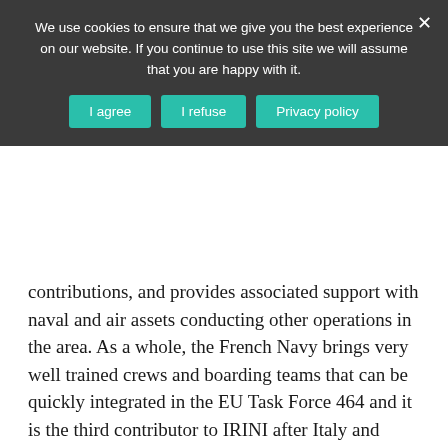We use cookies to ensure that we give you the best experience on our website. If you continue to use this site we will assume that you are happy with it.
contributions, and provides associated support with naval and air assets conducting other operations in the area. As a whole, the French Navy brings very well trained crews and boarding teams that can be quickly integrated in the EU Task Force 464 and it is the third contributor to IRINI after Italy and Greece, the two framework nations.
France also contributes decisively to other